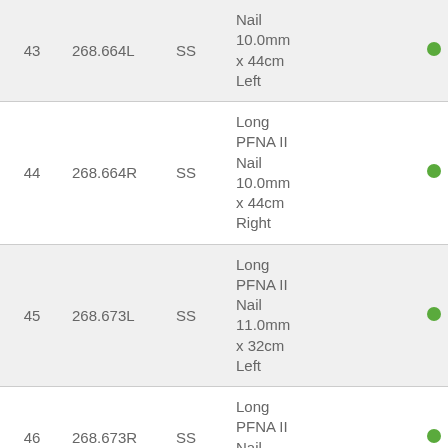| # | Code | Type | Description | In Stock | Qty |
| --- | --- | --- | --- | --- | --- |
| 43 | 268.664L | SS | Long PFNA II Nail 10.0mm x 44cm Left | ● |  |
| 44 | 268.664R | SS | Long PFNA II Nail 10.0mm x 44cm Right | ● |  |
| 45 | 268.673L | SS | Long PFNA II Nail 11.0mm x 32cm Left | ● |  |
| 46 | 268.673R | SS | Long PFNA II Nail 11.0mm x 46cm | ● |  |